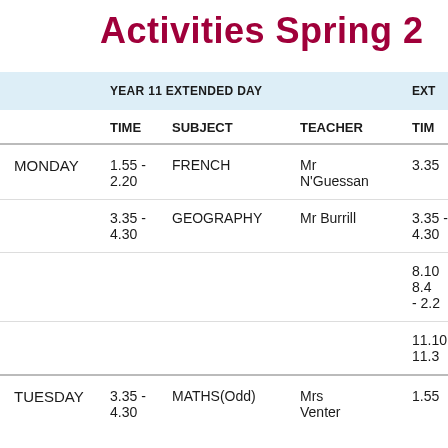Activities Spring 2
|  | YEAR 11 EXTENDED DAY |  |  | EXT... |
| --- | --- | --- | --- | --- |
|  | TIME | SUBJECT | TEACHER | TIM... |
| MONDAY | 1.55 - 2.20 | FRENCH | Mr N'Guessan | 3.35... |
|  | 3.35 - 4.30 | GEOGRAPHY | Mr Burrill | 3.35 - 4.30 |
|  |  |  |  | 8.10 8.4 - 2.2 |
|  |  |  |  | 11.10 11.3 |
| TUESDAY | 3.35 - 4.30 | MATHS(Odd) | Mrs Venter | 1.55... |